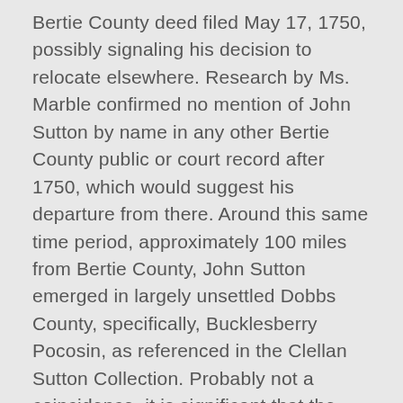Bertie County deed filed May 17, 1750, possibly signaling his decision to relocate elsewhere. Research by Ms. Marble confirmed no mention of John Sutton by name in any other Bertie County public or court record after 1750, which would suggest his departure from there. Around this same time period, approximately 100 miles from Bertie County, John Sutton emerged in largely unsettled Dobbs County, specifically, Bucklesberry Pocosin, as referenced in the Clellan Sutton Collection. Probably not a coincidence, it is significant that the first Sutton named in the oldest documents in the Collection, dated around 1750, was John Sutton.
Bertie County Bride. One of John's three proven sons, Benjamin, married Sarah Hardy from Bertie